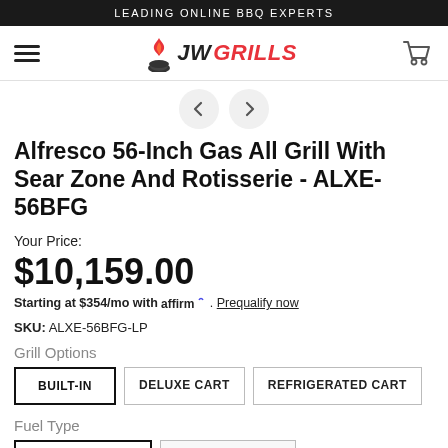LEADING ONLINE BBQ EXPERTS
[Figure (logo): JW Grills logo with flame icon and red italic text]
Alfresco 56-Inch Gas All Grill With Sear Zone And Rotisserie - ALXE-56BFG
Your Price:
$10,159.00
Starting at $354/mo with Affirm. Prequalify now
SKU: ALXE-56BFG-LP
Grill Options
BUILT-IN
DELUXE CART
REFRIGERATED CART
Fuel Type